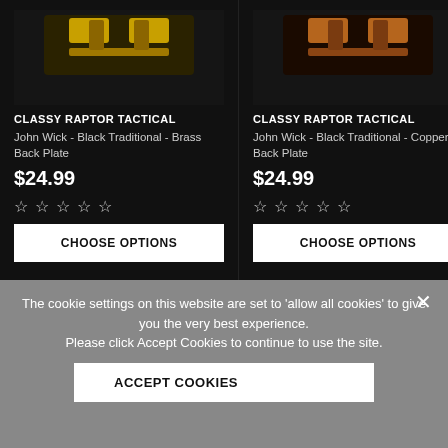[Figure (photo): Product image of John Wick Black Traditional Brass Back Plate belt buckle with gold/yellow design on dark background]
CLASSY RAPTOR TACTICAL
John Wick - Black Traditional - Brass Back Plate
$24.99
[Figure (other): Five star rating icons (empty/outline stars)]
CHOOSE OPTIONS
[Figure (photo): Product image of John Wick Black Traditional Copper Back Plate belt buckle with copper/orange design on dark background]
CLASSY RAPTOR TACTICAL
John Wick - Black Traditional - Copper Back Plate
$24.99
[Figure (other): Five star rating icons (empty/outline stars)]
CHOOSE OPTIONS
The cookie settings on this website are set to 'allow all cookies' to give you the very best experience. Please click Accept Cookies to continue to use the site.
ACCEPT COOKIES